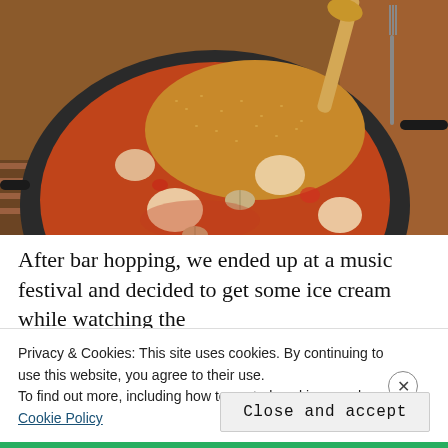[Figure (photo): A dark paella pan filled with rice, squid, and seafood in tomato-orange sauce, with a wooden spoon resting in it, photographed from above on a restaurant table.]
After bar hopping, we ended up at a music festival and decided to get some ice cream while watching the
Privacy & Cookies: This site uses cookies. By continuing to use this website, you agree to their use.
To find out more, including how to control cookies, see here: Cookie Policy
Close and accept